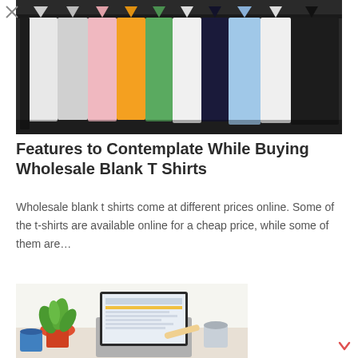[Figure (photo): Colorful t-shirts hanging on a clothing rack, variety of colors including white, pink, orange, green, blue, black]
Features to Contemplate While Buying Wholesale Blank T Shirts
Wholesale blank t shirts come at different prices online. Some of the t-shirts are available online for a cheap price, while some of them are…
[Figure (photo): Person working on a laptop with a plant and coffee cups on the desk]